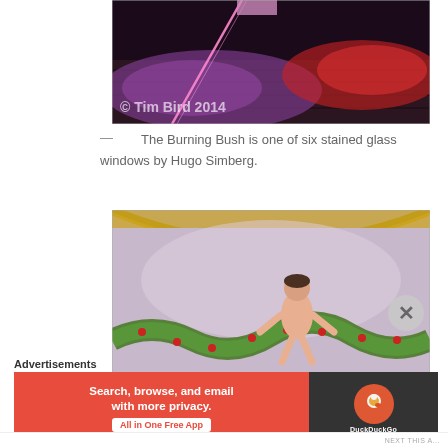[Figure (photo): A photograph of stained glass light patterns on a wooden floor, showing purple and red light beams with copyright watermark '© Tim Bird 2014']
— The Burning Bush is one of six stained glass windows by Hugo Simberg.
[Figure (photo): A photograph of a fresco or mural showing a partially nude male figure carrying or wrestling with a large green garland or serpent with red flowers, set against an arched architectural ceiling.]
Advertisements
[Figure (screenshot): DuckDuckGo advertisement banner: orange left side reading 'Search, browse, and email with more privacy. All in One Free App' and dark right side with DuckDuckGo logo.]